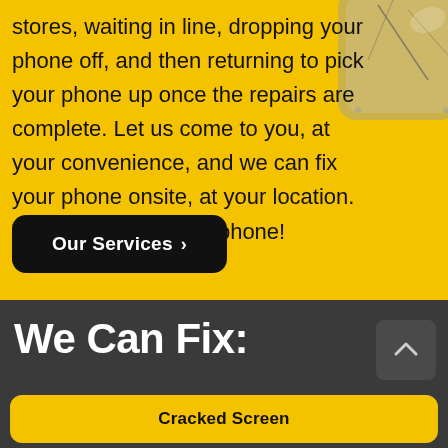stores, waiting in line, dropping your phone off, and then returning to pick your phone up once the repairs are complete. Let us come to you, at your convenience, and we can fix your phone onsite, at your location. It's like CPR for your phone!
[Figure (photo): Partial view of a smartphone with cracked screen or back, visible in the upper right corner over a yellow background.]
Our Services ›
We Can Fix:
Cracked Screen